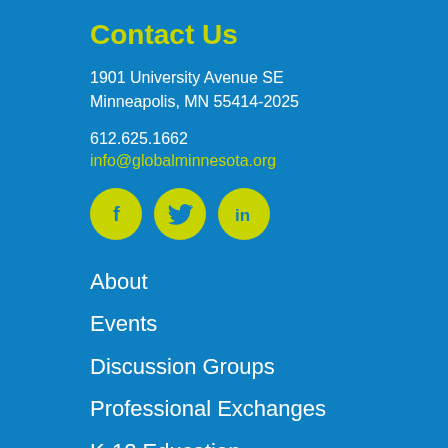Contact Us
1901 University Avenue SE
Minneapolis, MN 55414-2025
612.625.1662
info@globalminnesota.org
[Figure (infographic): Three yellow circular social media icons: Facebook (f), Twitter (bird), LinkedIn (in)]
About
Events
Discussion Groups
Professional Exchanges
K-12 Education
News